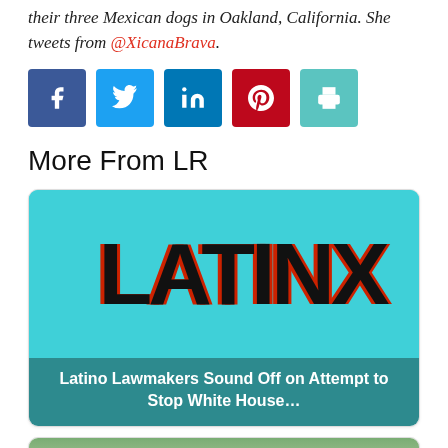their three Mexican dogs in Oakland, California. She tweets from @XicanaBrava.
[Figure (other): Row of 5 social sharing icon buttons: Facebook (blue), Twitter (light blue), LinkedIn (dark blue), Pinterest (red), Print (teal)]
More From LR
[Figure (other): Article card with teal background showing large bold 'LATINX' text in black with red shadow, and a dark teal caption bar reading 'Latino Lawmakers Sound Off on Attempt to Stop White House…']
Latino Lawmakers Sound Off on Attempt to Stop White House…
[Figure (photo): Partial photo thumbnail showing the beginning of a second article card, with green/outdoor background and a person visible at the bottom]